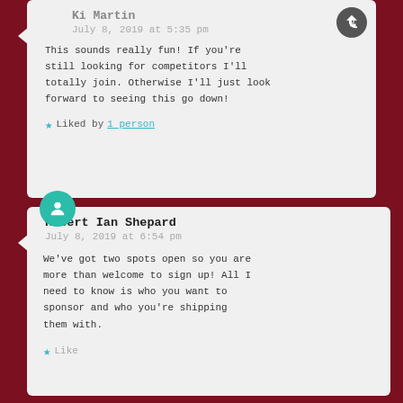Ki Martin
July 8, 2019 at 5:35 pm
This sounds really fun! If you're still looking for competitors I'll totally join. Otherwise I'll just look forward to seeing this go down!
Liked by 1 person
Robert Ian Shepard
July 8, 2019 at 6:54 pm
We've got two spots open so you are more than welcome to sign up! All I need to know is who you want to sponsor and who you're shipping them with.
Like